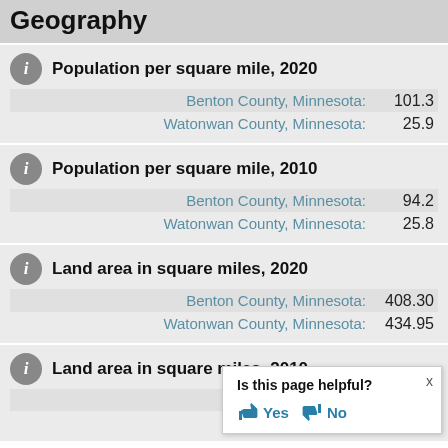Geography
Population per square mile, 2020
Benton County, Minnesota: 101.3
Watonwan County, Minnesota: 25.9
Population per square mile, 2010
Benton County, Minnesota: 94.2
Watonwan County, Minnesota: 25.8
Land area in square miles, 2020
Benton County, Minnesota: 408.30
Watonwan County, Minnesota: 434.95
Land area in square miles, 2010
Benton County
Watonwan County
Is this page helpful? Yes No